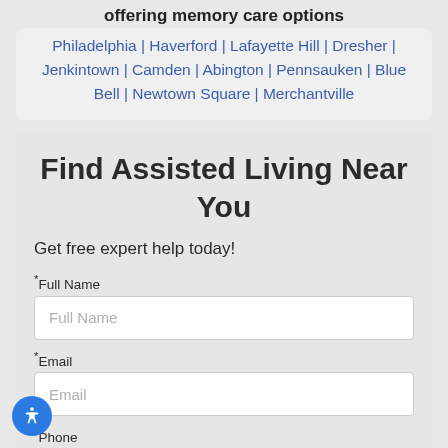offering memory care options
Philadelphia | Haverford | Lafayette Hill | Dresher | Jenkintown | Camden | Abington | Pennsauken | Blue Bell | Newtown Square | Merchantville
Find Assisted Living Near You
Get free expert help today!
*Full Name
*Email
*Phone